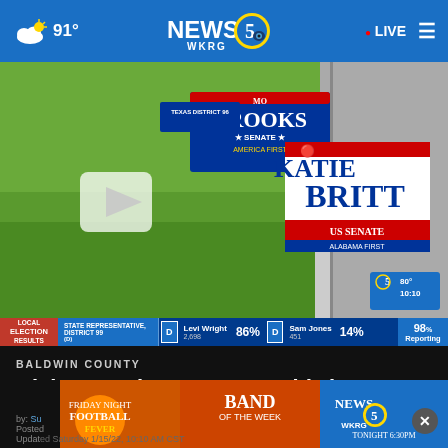91° NEWS 5 WKRG · LIVE
[Figure (screenshot): Video thumbnail showing campaign yard signs for Katie Britt US Senate and Mo Brooks Senate on a grass lawn, with a play button overlay. Bottom-right shows station bug with 80° 10:10.]
| Race | Party | Candidate | Votes | Pct | Party | Candidate | Votes | Pct | Reporting |
| --- | --- | --- | --- | --- | --- | --- | --- | --- | --- |
| STATE REPRESENTATIVE, DISTRICT 99 (D) | D | Levi Wright | 2,698 | 86% | D | Sam Jones | 451 | 14% | 98% Reporting |
BALDWIN COUNTY
Alabama Primary 2022: Baldwin County elections
[Figure (infographic): Advertisement banner: Friday Night Football Fever with News 5 WKRG Band of the Week Tonight 6:30PM]